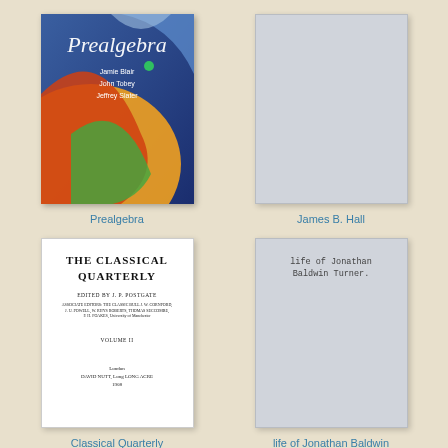[Figure (illustration): Prealgebra textbook cover with colorful abstract shapes, authors Jamie Blair, John Tobey, Jeffrey Slater]
Prealgebra
[Figure (illustration): Light gray placeholder book cover]
James B. Hall
[Figure (illustration): The Classical Quarterly title page, edited by J.P. Postgate, Volume II, published by David Nutt, Long Acre]
Classical Quarterly
[Figure (illustration): Light gray placeholder book cover with text: life of Jonathan Baldwin Turner.]
life of Jonathan Baldwin Turner.